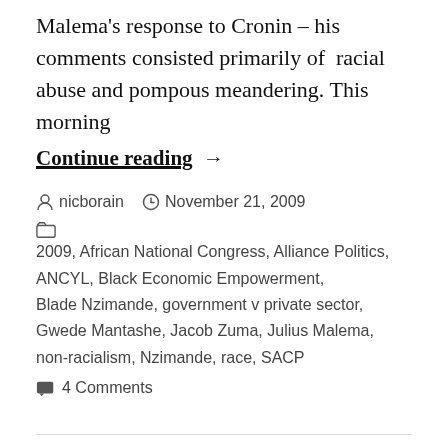Malema's response to Cronin – his comments consisted primarily of racial abuse and pompous meandering. This morning
Continue reading →
nicborain   November 21, 2009
2009, African National Congress, Alliance Politics, ANCYL, Black Economic Empowerment, Blade Nzimande, government v private sector, Gwede Mantashe, Jacob Zuma, Julius Malema, non-racialism, Nzimande, race, SACP
4 Comments
Nationalisation –